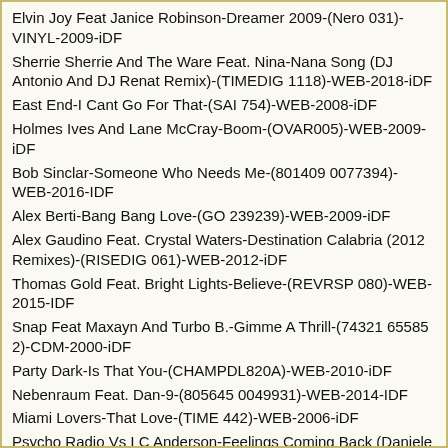Elvin Joy Feat Janice Robinson-Dreamer 2009-(Nero 031)-VINYL-2009-iDF
Sherrie Sherrie And The Ware Feat. Nina-Nana Song (DJ Antonio And DJ Renat Remix)-(TIMEDIG 1118)-WEB-2018-iDF
East End-I Cant Go For That-(SAI 754)-WEB-2008-iDF
Holmes Ives And Lane McCray-Boom-(OVAR005)-WEB-2009-iDF
Bob Sinclar-Someone Who Needs Me-(801409 0077394)-WEB-2016-IDF
Alex Berti-Bang Bang Love-(GO 239239)-WEB-2009-iDF
Alex Gaudino Feat. Crystal Waters-Destination Calabria (2012 Remixes)-(RISEDIG 061)-WEB-2012-iDF
Thomas Gold Feat. Bright Lights-Believe-(REVRSP 080)-WEB-2015-IDF
Snap Feat Maxayn And Turbo B.-Gimme A Thrill-(74321 65585 2)-CDM-2000-iDF
Party Dark-Is That You-(CHAMPDL820A)-WEB-2010-iDF
Nebenraum Feat. Dan-9-(805645 0049931)-WEB-2014-IDF
Miami Lovers-That Love-(TIME 442)-WEB-2006-iDF
Psycho Radio Vs LC Anderson-Feelings Coming Back (Daniele Baldelli And Marco Dionigi Remix)-(RISEDIG 592)-WEB-2018-iDF